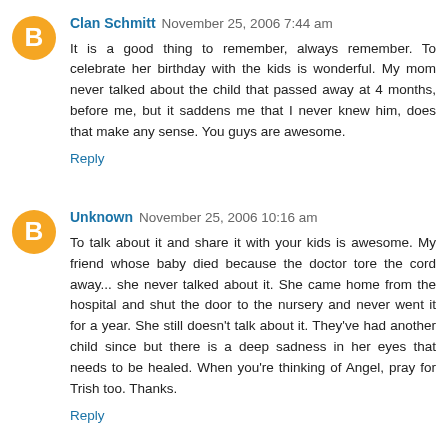Clan Schmitt  November 25, 2006 7:44 am
It is a good thing to remember, always remember. To celebrate her birthday with the kids is wonderful. My mom never talked about the child that passed away at 4 months, before me, but it saddens me that I never knew him, does that make any sense. You guys are awesome.
Reply
Unknown  November 25, 2006 10:16 am
To talk about it and share it with your kids is awesome. My friend whose baby died because the doctor tore the cord away... she never talked about it. She came home from the hospital and shut the door to the nursery and never went it for a year. She still doesn't talk about it. They've had another child since but there is a deep sadness in her eyes that needs to be healed. When you're thinking of Angel, pray for Trish too. Thanks.
Reply